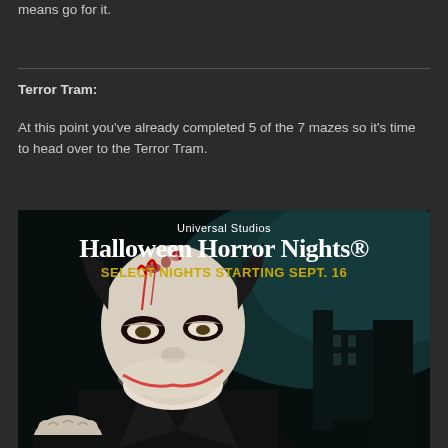means go for it.
Terror Tram:
At this point you've already completed 5 of the 7 mazes so it's time to head over to the Terror Tram.
[Figure (photo): Universal Studios Halloween Horror Nights promotional image featuring a horror clown character with bloody makeup, white face paint, and red streaks. Text overlay reads 'Universal Studios HALLOWEEN HORROR NIGHTS SELECT NIGHTS STARTING SEPT. 16']